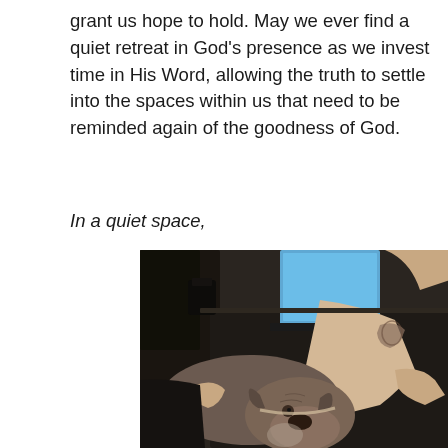grant us hope to hold. May we ever find a quiet retreat in God's presence as we invest time in His Word, allowing the truth to settle into the spaces within us that need to be reminded again of the goodness of God.
In a quiet space,
[Figure (photo): A large gray/brown dog (pit bull type) lying on a dark leather couch next to a person's bare legs. The person has a tattoo on their lower leg and a laptop is visible in the background on the couch.]